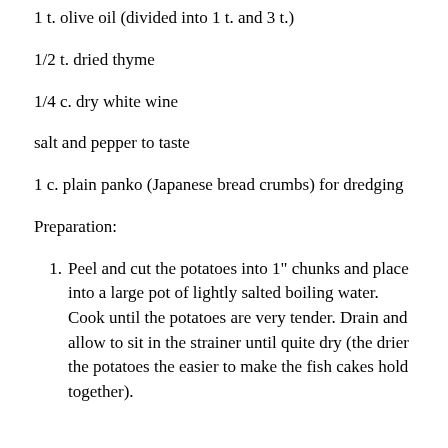1 t. olive oil (divided into 1 t. and 3 t.)
1/2 t. dried thyme
1/4 c. dry white wine
salt and pepper to taste
1 c. plain panko (Japanese bread crumbs) for dredging
Preparation:
Peel and cut the potatoes into 1" chunks and place into a large pot of lightly salted boiling water. Cook until the potatoes are very tender. Drain and allow to sit in the strainer until quite dry (the drier the potatoes the easier to make the fish cakes hold together).